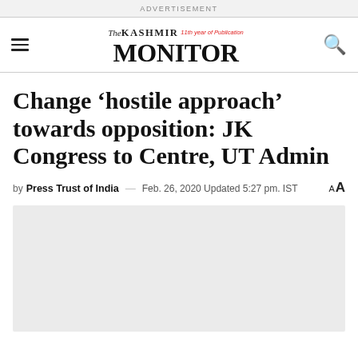ADVERTISEMENT
The KASHMIR MONITOR
Change ‘hostile approach’ towards opposition: JK Congress to Centre, UT Admin
by Press Trust of India — Feb. 26, 2020 Updated 5:27 pm. IST AA
[Figure (photo): Light grey placeholder image area below the article byline]